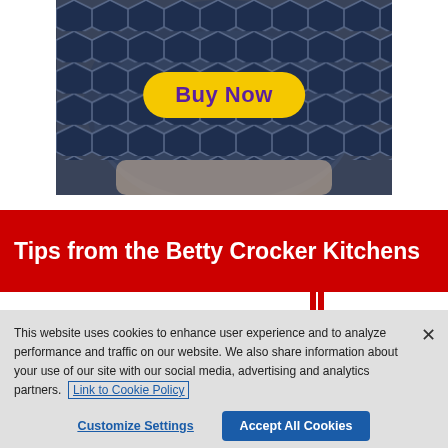[Figure (photo): Photo of a bowl with honeycomb/hexagonal pattern in dark blue and grey, with a yellow 'Buy Now' button overlaid]
Tips from the Betty Crocker Kitchens
This website uses cookies to enhance user experience and to analyze performance and traffic on our website. We also share information about your use of our site with our social media, advertising and analytics partners. Link to Cookie Policy
Customize Settings   Accept All Cookies